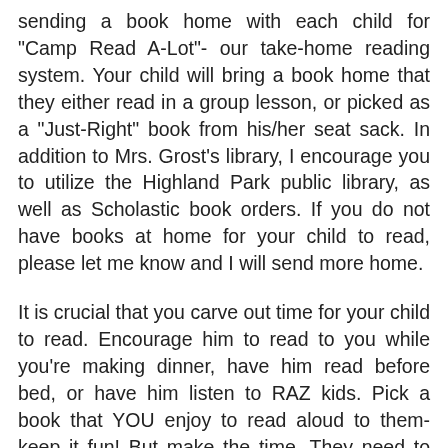sending a book home with each child for "Camp Read A-Lot"- our take-home reading system. Your child will bring a book home that they either read in a group lesson, or picked as a "Just-Right" book from his/her seat sack. In addition to Mrs. Grost's library, I encourage you to utilize the Highland Park public library, as well as Scholastic book orders. If you do not have books at home for your child to read, please let me know and I will send more home.
It is crucial that you carve out time for your child to read. Encourage him to read to you while you're making dinner, have him read before bed, or have him listen to RAZ kids. Pick a book that YOU enjoy to read aloud to them- keep it fun! But make the time. They need to practice often- in school and at home.